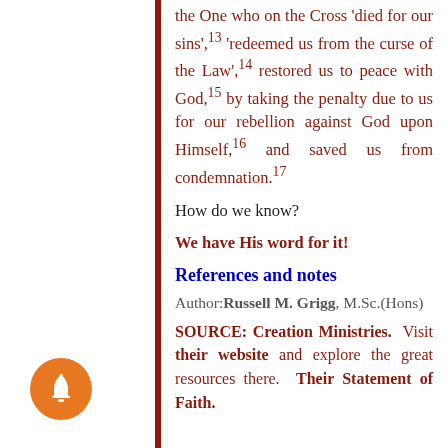the One who on the Cross 'died for our sins',¹³ 'redeemed us from the curse of the Law',¹⁴ restored us to peace with God,¹⁵ by taking the penalty due to us for our rebellion against God upon Himself,¹⁶ and saved us from condemnation.¹⁷
How do we know?
We have His word for it!
References and notes
Author: Russell M. Grigg, M.Sc.(Hons)
SOURCE: Creation Ministries.  Visit their website and explore the great resources there.  Their Statement of Faith.